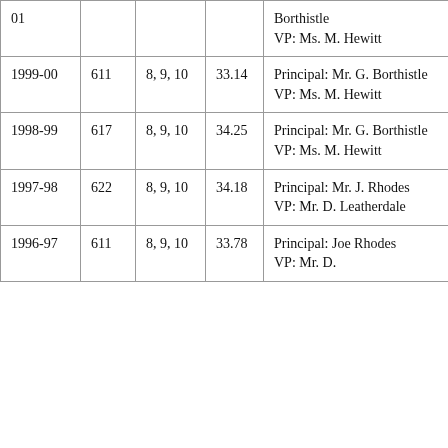| 01 |  |  |  | Borthistle
VP: Ms. M. Hewitt |
| 1999-00 | 611 | 8, 9, 10 | 33.14 | Principal: Mr. G. Borthistle
VP: Ms. M. Hewitt |
| 1998-99 | 617 | 8, 9, 10 | 34.25 | Principal: Mr. G. Borthistle
VP: Ms. M. Hewitt |
| 1997-98 | 622 | 8, 9, 10 | 34.18 | Principal: Mr. J. Rhodes
VP: Mr. D. Leatherdale |
| 1996-97 | 611 | 8, 9, 10 | 33.78 | Principal: Joe Rhodes
VP: Mr. D. |